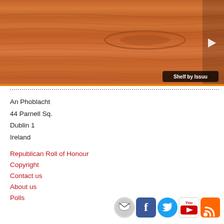[Figure (photo): Wood texture panel with a right-pointing arrow and 'Shelf by Issuu' label in bottom right corner]
An Phoblacht
44 Parnell Sq.
Dublin 1
Ireland
Republican Roll of Honour
Copyright
Contact us
About us
Polls
[Figure (illustration): Social media icons: email, Facebook, Twitter, YouTube, RSS feed]